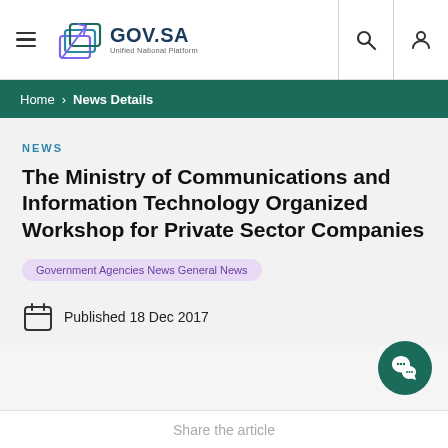[Figure (logo): GOV.SA Unified National Platform logo with stylized document icon]
Home > News Details
NEWS
The Ministry of Communications and Information Technology Organized Workshop for Private Sector Companies
Government Agencies News General News
Published 18 Dec 2017
Share the article